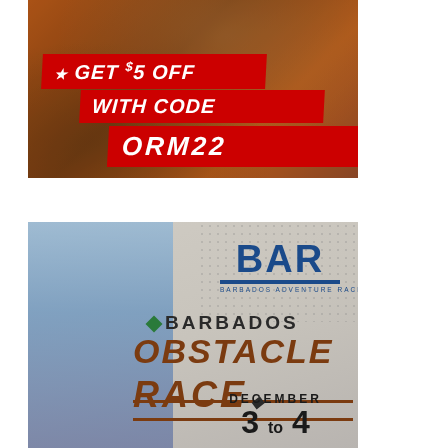[Figure (illustration): Advertisement for obstacle race showing person covered in mud giving thumbs up, with red banner overlay reading 'GET $5 OFF WITH CODE ORM22']
[Figure (illustration): Advertisement for Barbados Adventure Race showing athlete on gymnastics rings with 'BAR' logo and text 'BARBADOS OBSTACLE RACE DECEMBER 3 to 4']